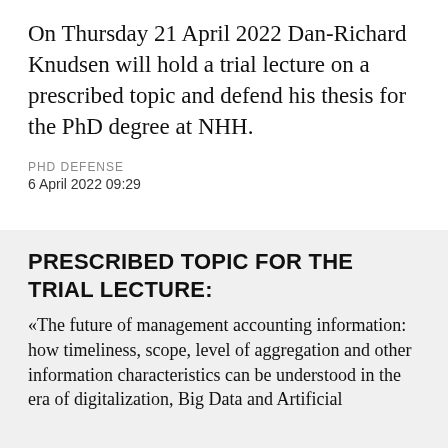On Thursday 21 April 2022 Dan-Richard Knudsen will hold a trial lecture on a prescribed topic and defend his thesis for the PhD degree at NHH.
PHD DEFENSE
6 April 2022 09:29
PRESCRIBED TOPIC FOR THE TRIAL LECTURE:
«The future of management accounting information: how timeliness, scope, level of aggregation and other information characteristics can be understood in the era of digitalization, Big Data and Artificial